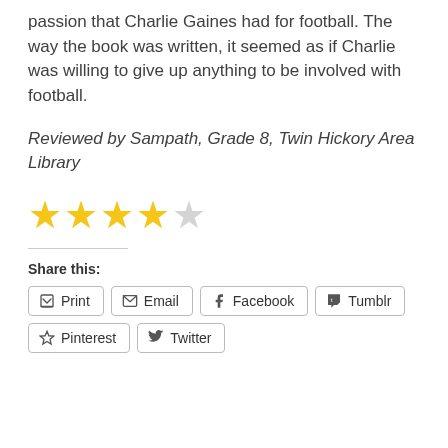passion that Charlie Gaines had for football. The way the book was written, it seemed as if Charlie was willing to give up anything to be involved with football.
Reviewed by Sampath, Grade 8, Twin Hickory Area Library
[Figure (other): 4 out of 5 stars rating — four filled gold stars and one empty/outline star]
Share this:
Print  Email  Facebook  Tumblr  Pinterest  Twitter